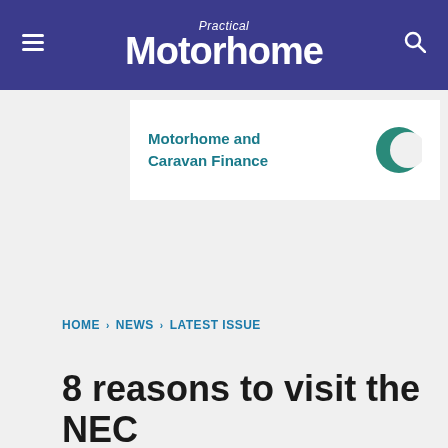Practical Motorhome
[Figure (logo): Motorhome and Caravan Finance advertisement banner with teal crescent logo]
HOME › NEWS › LATEST ISSUE
8 reasons to visit the NEC Motorhome and Caravan